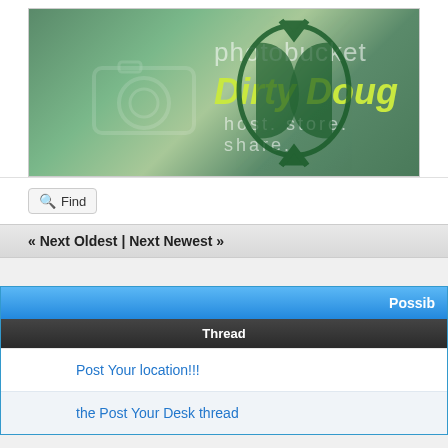[Figure (screenshot): Photobucket banner image with green marbled background, camera icon outline, 'photobucket' text, 'Dirty Doug' text in yellow-green, 'host. store. share.' tagline, and dark green ornamental emblem on right]
Find
« Next Oldest | Next Newest »
| Thread | Possib… |
| --- | --- |
| Post Your location!!! |
| the Post Your Desk thread |